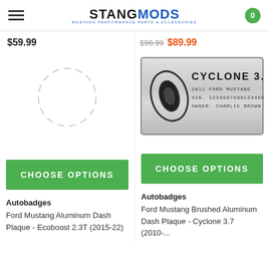StangMods — hamburger menu, logo, cart badge (0)
$59.99
$96.99  $89.99
[Figure (photo): Loading spinner circle placeholder for product image]
[Figure (photo): Brushed aluminum dash plaque showing Cyclone 3.7 logo, 2011 Ford Mustang, VIN. 123456789012345G, Owner: Charlie Brown]
CHOOSE OPTIONS
CHOOSE OPTIONS
Autobadges
Autobadges
Ford Mustang Aluminum Dash Plaque - Ecoboost 2.3T (2015-22)
Ford Mustang Brushed Aluminum Dash Plaque - Cyclone 3.7 (2010-...